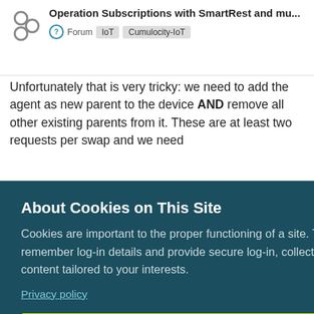Operation Subscriptions with SmartRest and mu... Forum IoT Cumulocity-IoT
Unfortunately that is very tricky: we need to add the agent as new parent to the device AND remove all other existing parents from it. These are at least two requests per swap and we need
erations
[Figure (screenshot): Cookie consent overlay on a forum page with dark teal background. Title: About Cookies on This Site. Body text about cookies. Privacy policy link. Yellow AGREE AND PROCEED button.]
AGREE AND PROCEED
Reply
How to create boxed dotted
1